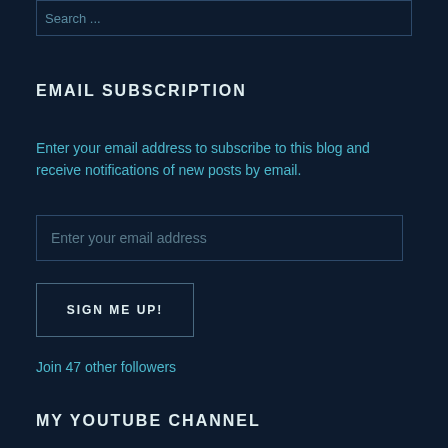Search ...
EMAIL SUBSCRIPTION
Enter your email address to subscribe to this blog and receive notifications of new posts by email.
Enter your email address
SIGN ME UP!
Join 47 other followers
MY YOUTUBE CHANNEL